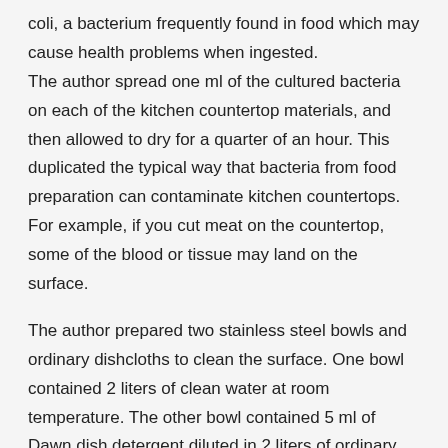coli, a bacterium frequently found in food which may cause health problems when ingested. The author spread one ml of the cultured bacteria on each of the kitchen countertop materials, and then allowed to dry for a quarter of an hour. This duplicated the typical way that bacteria from food preparation can contaminate kitchen countertops. For example, if you cut meat on the countertop, some of the blood or tissue may land on the surface.
The author prepared two stainless steel bowls and ordinary dishcloths to clean the surface. One bowl contained 2 liters of clean water at room temperature. The other bowl contained 5 ml of Dawn dish detergent diluted in 2 liters of ordinary water. Cleaning the countertops involved dipping the dishcloth in the detergent solution and rubbing the contaminated surface 10 times in one direction. The author then rinsed the dishcloth in the detergent solution and rubbed